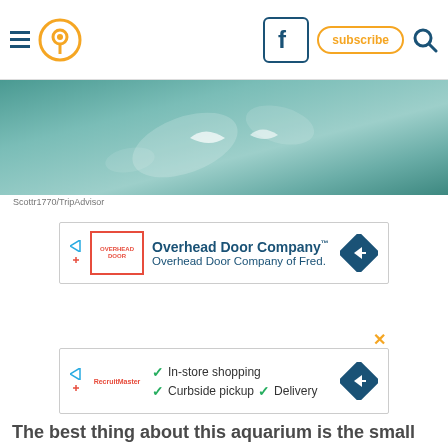Navigation bar with hamburger menu, location pin icon, Facebook button, subscribe button, search icon
[Figure (photo): Aerial/overhead view of aquarium water surface, teal and blue-green tones with light reflections]
Scottr1770/TripAdvisor
[Figure (other): Advertisement: Overhead Door Company™ - Overhead Door Company of Fred. with blue diamond arrow logo]
[Figure (other): Advertisement: In-store shopping, Curbside pickup, Delivery with blue diamond arrow logo]
The best thing about this aquarium is the small